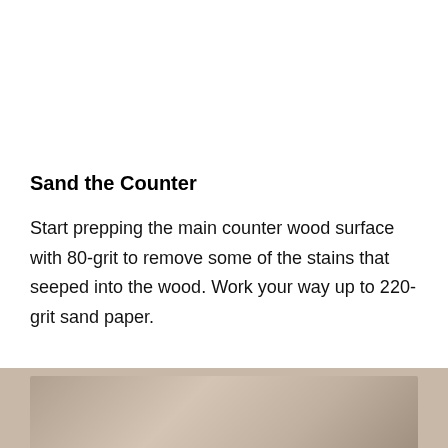Sand the Counter
Start prepping the main counter wood surface with 80-grit to remove some of the stains that seeped into the wood. Work your way up to 220-grit sand paper.
[Figure (photo): Photo of a wood counter surface being sanded, partially visible at the bottom of the page]